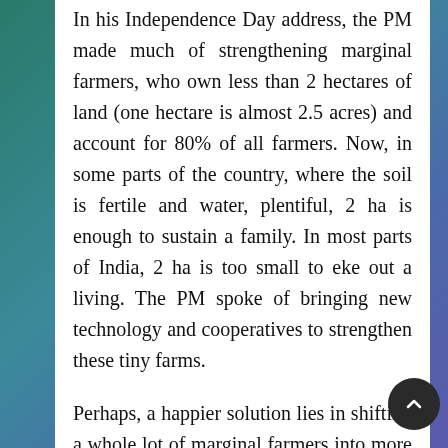In his Independence Day address, the PM made much of strengthening marginal farmers, who own less than 2 hectares of land (one hectare is almost 2.5 acres) and account for 80% of all farmers. Now, in some parts of the country, where the soil is fertile and water, plentiful, 2 ha is enough to sustain a family. In most parts of India, 2 ha is too small to eke out a living. The PM spoke of bringing new technology and cooperatives to strengthen these tiny farms.
Perhaps, a happier solution lies in shifting a whole lot of marginal farmers into more productive occupations in towns, while their tiny patches of land are consolidated into more economic holdings. The output per worker in agriculture is one-seventh the output per worker in non-farm